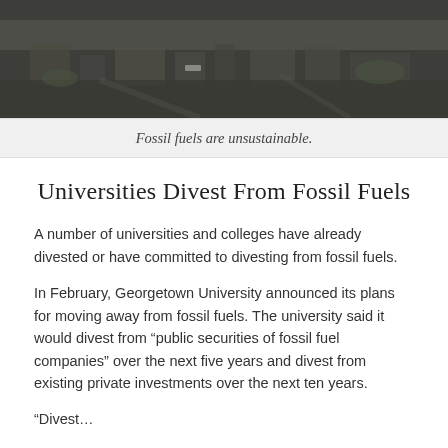[Figure (photo): Aerial or elevated photograph of an urban/industrial landscape, dark toned, showing buildings and infrastructure from above]
Fossil fuels are unsustainable.
Universities Divest From Fossil Fuels
A number of universities and colleges have already divested or have committed to divesting from fossil fuels.
In February, Georgetown University announced its plans for moving away from fossil fuels. The university said it would divest from “public securities of fossil fuel companies” over the next five years and divest from existing private investments over the next ten years.
“Divest…